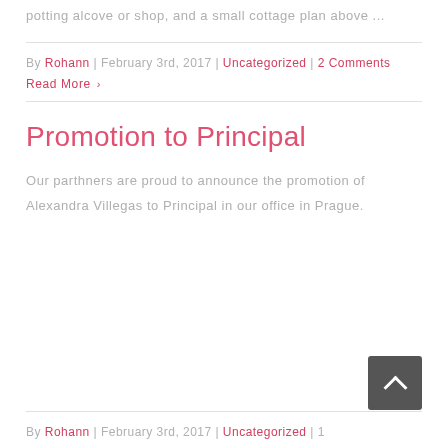potting alcove or shop, and a small cottage plan above ...
By Rohann | February 3rd, 2017 | Uncategorized | 2 Comments
Read More >
Promotion to Principal
Our parthners are proud to announce the promotion of Alexandra Villegas to Principal in our office in Prague.
By Rohann | February 3rd, 2017 | Uncategorized | 1